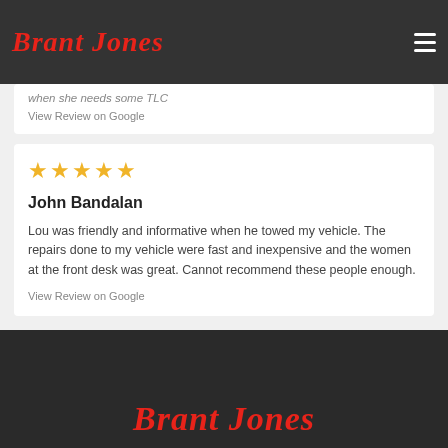Brant Jones
when she needs some TLC
View Review on Google
[Figure (other): Five yellow star rating icons]
John Bandalan
Lou was friendly and informative when he towed my vehicle. The repairs done to my vehicle were fast and inexpensive and the women at the front desk was great. Cannot recommend these people enough.
View Review on Google
Brant Jones